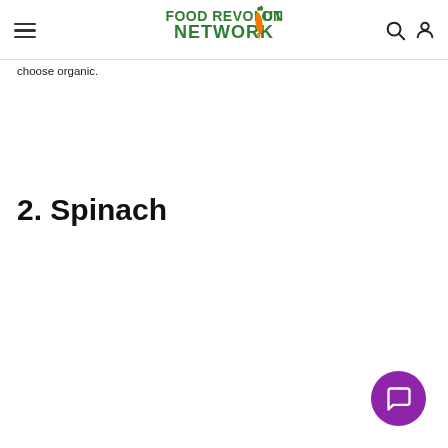Food Revolution Network — navigation bar with hamburger menu, logo, search and account icons
If you like strawberries (and a lot of us do), you have a few options. You can grow your own (not that hard, and you don't need a lot of land. Even a container on a sunny porch should do the trick). Or, buy fresh or frozen strawberries, and choose organic.
2. Spinach